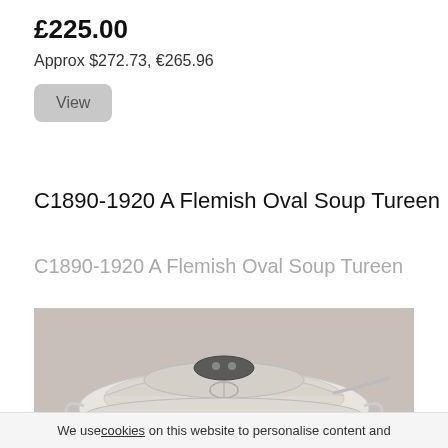£225.00
Approx $272.73, €265.96
View
C1890-1920 A Flemish Oval Soup Tureen
C1890-1920 A Flemish Oval Soup Tureen
[Figure (photo): A white/cream Flemish oval soup tureen with a decorative dark handle on top of the lid, shown from above-front angle on a grey background.]
We use cookies on this website to personalise content and